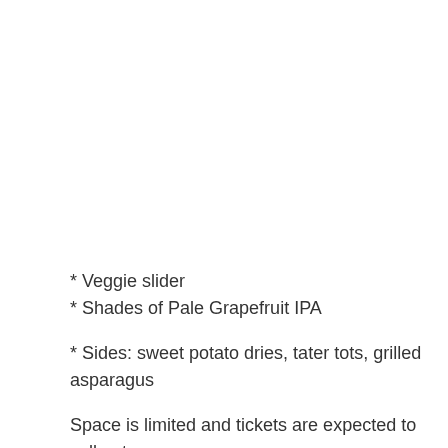* Veggie slider
* Shades of Pale Grapefruit IPA
* Sides: sweet potato dries, tater tots, grilled asparagus
Space is limited and tickets are expected to sell out